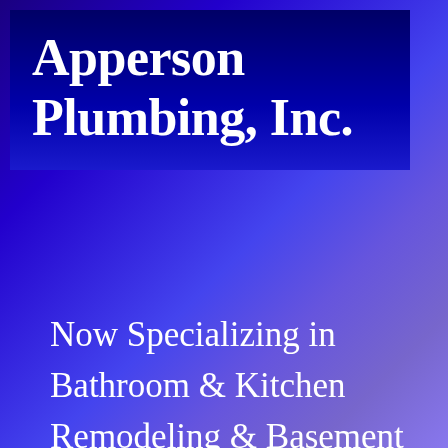Apperson Plumbing, Inc.
Now Specializing in Bathroom & Kitchen Remodeling & Basement Finishing!